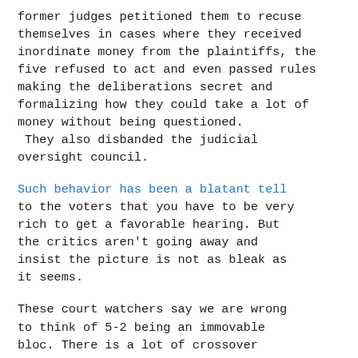former judges petitioned them to recuse themselves in cases where they received inordinate money from the plaintiffs, the five refused to act and even passed rules making the deliberations secret and formalizing how they could take a lot of money without being questioned.  They also disbanded the judicial oversight council.
Such behavior has been a blatant tell to the voters that you have to be very rich to get a favorable hearing. But the critics aren't going away and insist the picture is not as bleak as it seems.
These court watchers say we are wrong to think of 5-2 being an immovable bloc.  There is a lot of crossover